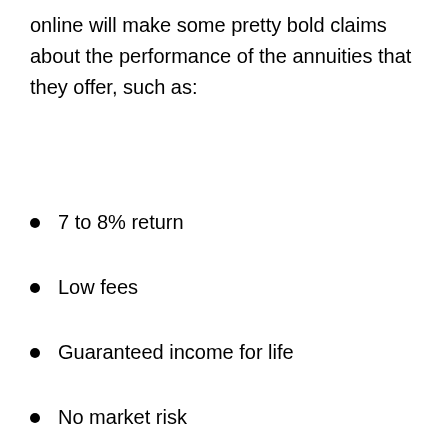online will make some pretty bold claims about the performance of the annuities that they offer, such as:
7 to 8% return
Low fees
Guaranteed income for life
No market risk